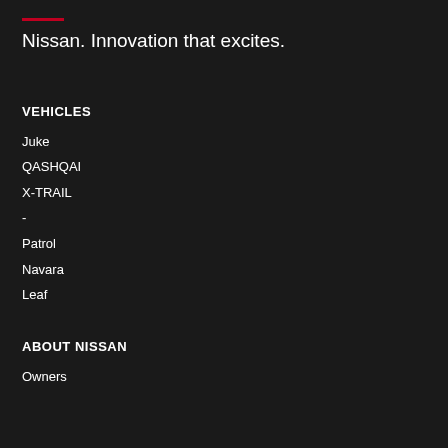Nissan. Innovation that excites.
VEHICLES
Juke
QASHQAI
X-TRAIL
-
Patrol
Navara
Leaf
ABOUT NISSAN
Owners